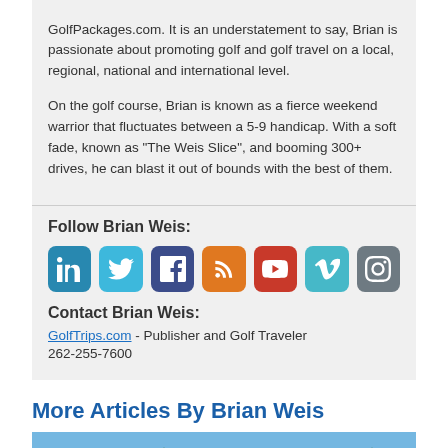GolfPackages.com. It is an understatement to say, Brian is passionate about promoting golf and golf travel on a local, regional, national and international level.
On the golf course, Brian is known as a fierce weekend warrior that fluctuates between a 5-9 handicap. With a soft fade, known as "The Weis Slice", and booming 300+ drives, he can blast it out of bounds with the best of them.
Follow Brian Weis:
[Figure (other): Social media icons: LinkedIn (blue), Twitter (light blue), Facebook (dark blue), RSS (orange), YouTube (red), Vimeo (teal), Instagram (gray)]
Contact Brian Weis:
GolfTrips.com - Publisher and Golf Traveler
262-255-7600
More Articles By Brian Weis
[Figure (photo): Outdoor landscape photo showing green pine trees, mountains, and blue sky - a golf course or nature scene]